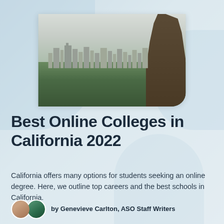[Figure (photo): Aerial/elevated view of Los Angeles skyline with palm tree on right side, city buildings in background, dense tree canopy in foreground]
Best Online Colleges in California 2022
California offers many options for students seeking an online degree. Here, we outline top careers and the best schools in California.
by Genevieve Carlton, ASO Staff Writers